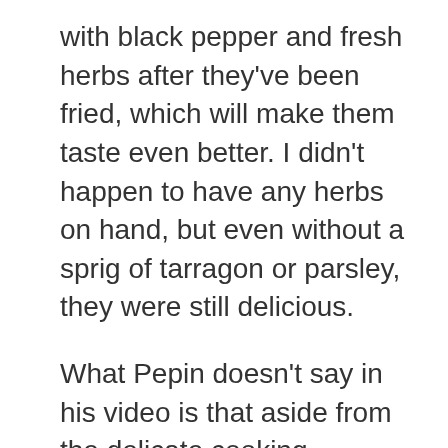with black pepper and fresh herbs after they've been fried, which will make them taste even better. I didn't happen to have any herbs on hand, but even without a sprig of tarragon or parsley, they were still delicious.
What Pepin doesn't say in his video is that aside from the delicate cooking technique, the main reason these fried eggs taste so good is that the underside is gently bathed with melted butter. As the French know perhaps more than most, everything tastes better with butter.
Related: The Easy Way to Make a Perfect Poached Egg